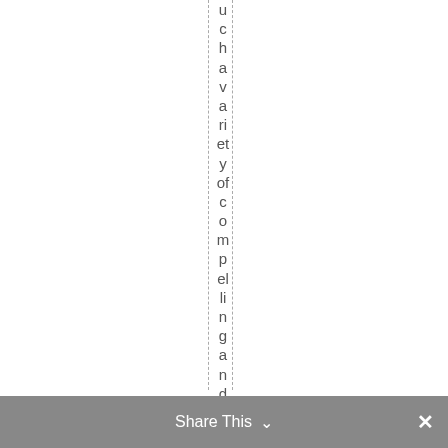u c h a v a r i e t y o f c o m p e l l i n g a n d h i g h q
Share This ∨ ×